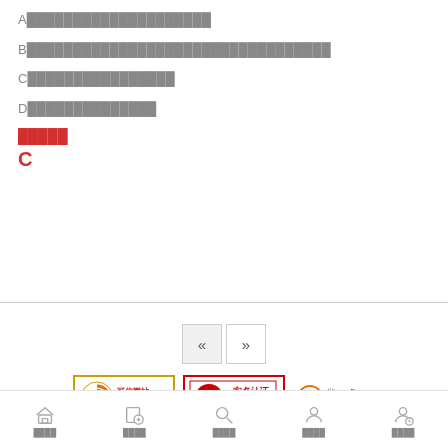A████████████████████
B█████████████████████████████
C████████████████
D██████████████
█████
C
[Figure (other): Pagination buttons: previous («) and next (»)]
[Figure (other): Trust badges: 可信网站身份验证, 实名认证, 湘ICP备21012367号]
Copyright © ████m.sotiji.com█All Right Reserved.
████ ████ ████ ████ ████